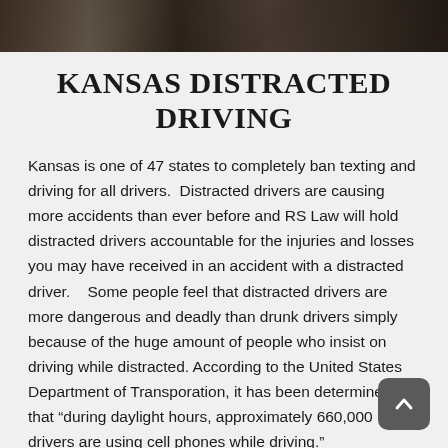[Figure (photo): Dark photograph showing a person driving, cropped at top of page]
KANSAS DISTRACTED DRIVING
Kansas is one of 47 states to completely ban texting and driving for all drivers.  Distracted drivers are causing more accidents than ever before and RS Law will hold distracted drivers accountable for the injuries and losses you may have received in an accident with a distracted driver.    Some people feel that distracted drivers are more dangerous and deadly than drunk drivers simply because of the huge amount of people who insist on driving while distracted. According to the United States Department of Transporation, it has been determined that “during daylight hours, approximately 660,000 drivers are using cell phones while driving."